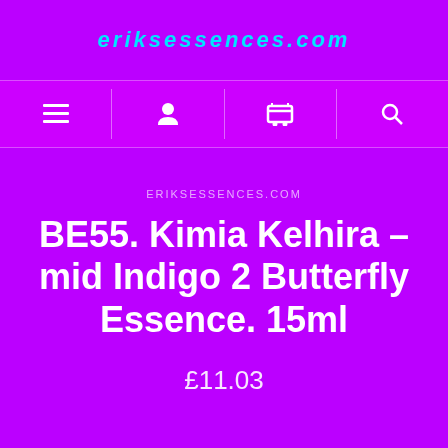eriksessences.com
[Figure (screenshot): Navigation bar with menu, account, cart, and search icons]
ERIKSESSENCES.COM
BE55. Kimia Kelhira – mid Indigo 2 Butterfly Essence. 15ml
£11.03